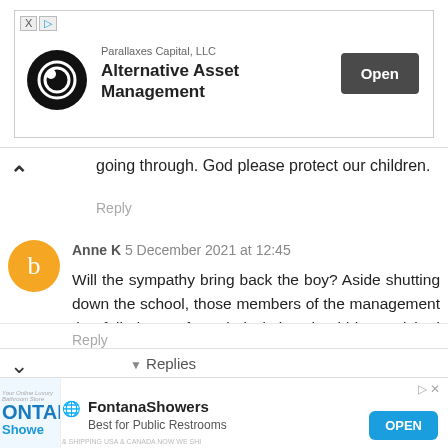[Figure (screenshot): Top advertisement banner for Parallaxes Capital LLC - Alternative Asset Management with Open button]
going through. God please protect our children.
Reply
Anne K 5 December 2021 at 12:45
Will the sympathy bring back the boy? Aside shutting down the school, those members of the management that failed to perform their duties should be punished by the law as well as the culprits.
Reply
▼ Replies
[Figure (screenshot): Bottom advertisement banner for FontanaShowers - Best for Public Restrooms with OPEN button]